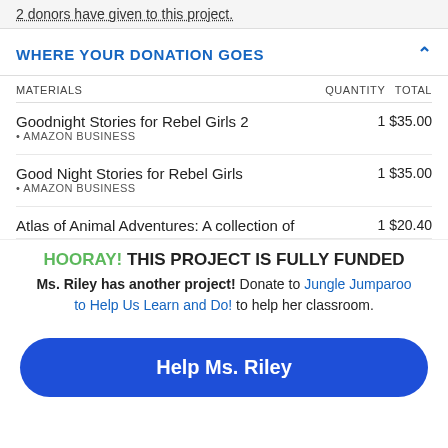2 donors have given to this project.
WHERE YOUR DONATION GOES
| MATERIALS | QUANTITY | TOTAL |
| --- | --- | --- |
| Goodnight Stories for Rebel Girls 2
• AMAZON BUSINESS | 1 | $35.00 |
| Good Night Stories for Rebel Girls
• AMAZON BUSINESS | 1 | $35.00 |
| Atlas of Animal Adventures: A collection of | 1 | $20.40 |
HOORAY! THIS PROJECT IS FULLY FUNDED
Ms. Riley has another project! Donate to Jungle Jumparoo to Help Us Learn and Do! to help her classroom.
Help Ms. Riley